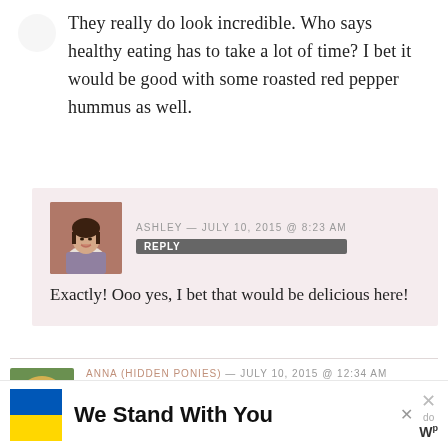They really do look incredible. Who says healthy eating has to take a lot of time? I bet it would be good with some roasted red pepper hummus as well.
ASHLEY — JULY 10, 2015 @ 8:23 AM
REPLY
Exactly! Ooo yes, I bet that would be delicious here!
ANNA (HIDDEN PONIES) — JULY 10, 2015 @ 12:34 AM
REPLY
We Stand With You